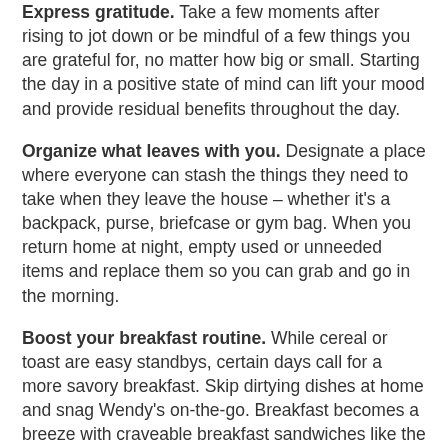Express gratitude. Take a few moments after rising to jot down or be mindful of a few things you are grateful for, no matter how big or small. Starting the day in a positive state of mind can lift your mood and provide residual benefits throughout the day.
Organize what leaves with you. Designate a place where everyone can stash the things they need to take when they leave the house – whether it's a backpack, purse, briefcase or gym bag. When you return home at night, empty used or unneeded items and replace them so you can grab and go in the morning.
Boost your breakfast routine. While cereal or toast are easy standbys, certain days call for a more savory breakfast. Skip dirtying dishes at home and snag Wendy's on-the-go. Breakfast becomes a breeze with craveable breakfast sandwiches like the Sausage, Egg & Swiss Croissant or Bacon, Egg & Swiss Croissant, both made with fresh-cracked eggs and housed on warm, flaky croissants. For caffeine lovers, grab a hot coffee made with 100% Arabica beans, cold brew coffee steeped for 12 hours or a one-of-a-kind Frosty-ccino – cold brew coffee topped with Frosty.